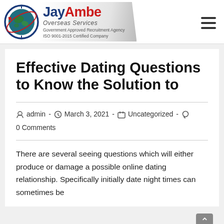[Figure (logo): JayAmbe Overseas Services logo with globe icon, blue and red text, tagline Government Approved Recruitment Agency ISO 9001-2015 Certified Company]
Effective Dating Questions to Know the Solution to
admin  ·  March 3, 2021  ·
Uncategorized  ·  0 Comments
There are several seeing questions which will either produce or damage a possible online dating relationship. Specifically initially date night times can sometimes be